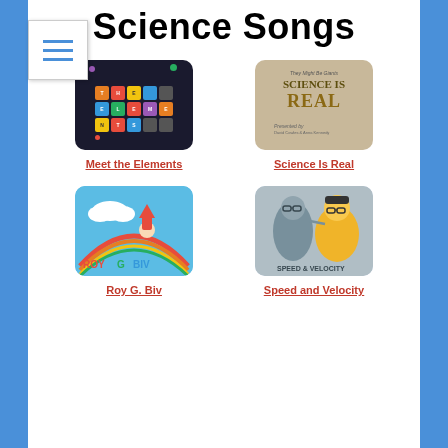Science Songs
[Figure (screenshot): Navigation menu hamburger button]
[Figure (screenshot): Meet the Elements thumbnail - dark background with colorful letter tiles spelling THE ELEMENTS]
Meet the Elements
[Figure (screenshot): Science Is Real thumbnail - book cover with text SCIENCE IS REAL]
Science Is Real
[Figure (screenshot): Roy G. Biv thumbnail - colorful character with rainbow]
Roy G. Biv
[Figure (screenshot): Speed and Velocity thumbnail - animated characters]
Speed and Velocity